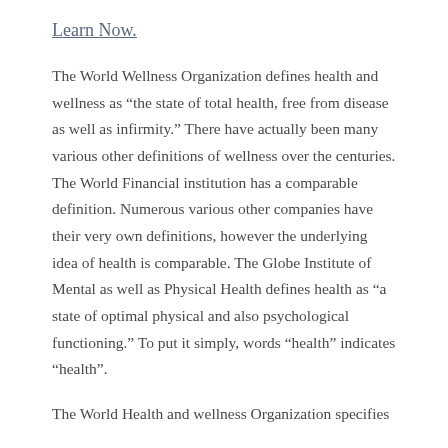Learn Now.
The World Wellness Organization defines health and wellness as “the state of total health, free from disease as well as infirmity.” There have actually been many various other definitions of wellness over the centuries. The World Financial institution has a comparable definition. Numerous various other companies have their very own definitions, however the underlying idea of health is comparable. The Globe Institute of Mental as well as Physical Health defines health as “a state of optimal physical and also psychological functioning.” To put it simply, words “health” indicates “health”.
The World Health and wellness Organization specifies